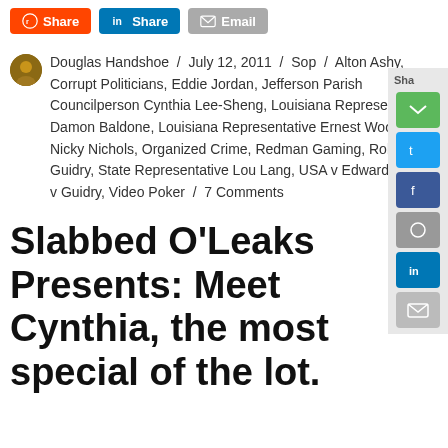Share buttons: Reddit Share, LinkedIn Share, Email
Douglas Handshoe / July 12, 2011 / Sop / Alton Ashy, Corrupt Politicians, Eddie Jordan, Jefferson Parish Councilperson Cynthia Lee-Sheng, Louisiana Representative Damon Baldone, Louisiana Representative Ernest Wooton, Nicky Nichols, Organized Crime, Redman Gaming, Robert Guidry, State Representative Lou Lang, USA v Edwards, USA v Guidry, Video Poker / 7 Comments
Slabbed O’Leaks Presents: Meet Cynthia, the most special of the lot.